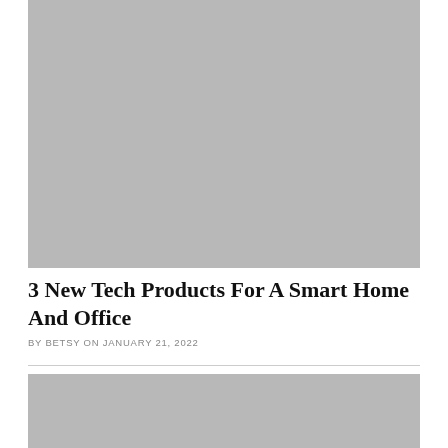[Figure (photo): Large gray placeholder image at the top of the article]
3 New Tech Products For A Smart Home And Office
BY BETSY ON JANUARY 21, 2022
[Figure (photo): Gray placeholder image at the bottom of the article, partially visible]